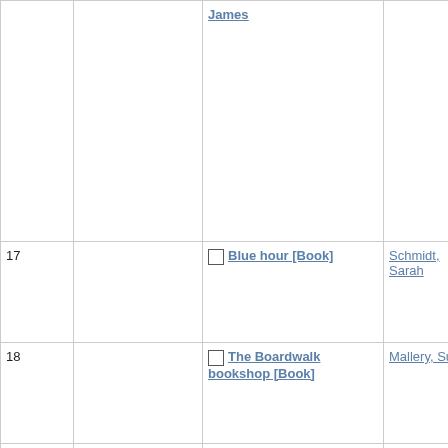| # | Cover | Title | Author | Year | Icon | Info |
| --- | --- | --- | --- | --- | --- | --- |
|  |  | James [link - partial] |  |  |  | Col...
Adu...
Thr...
No...
Ava...
Nu... |
| 17 |  | Blue hour [Book] | Schmidt, Sarah | 2022 | [book icon] | She...
Col...
Adu...
Ava...
Nu... |
| 18 |  | The Boardwalk bookshop [Book] | Mallery, Susan | 2022 | [book icon] | She...
Col...
Ava...
Nu... |
| 19 |  | Bodies are cool [Book] | Feder, Tyler | 2021 | [book icon] | She...
Col...
Les...
No...
Ava...
Nu... |
| 20 |  | Bodies of light [Book] | Down, Jennifer | 2021 | [book icon] | She...
Col...
Adu...
Ava...
Nu... |